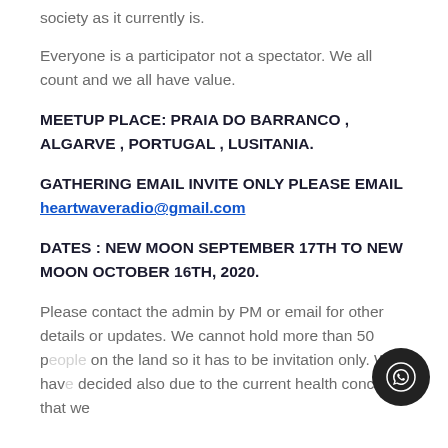society as it currently is.
Everyone is a participator not a spectator. We all count and we all have value.
MEETUP PLACE: PRAIA DO BARRANCO , ALGARVE , PORTUGAL , LUSITANIA.
GATHERING EMAIL INVITE ONLY PLEASE EMAIL heartwaveradio@gmail.com
DATES : NEW MOON SEPTEMBER 17TH TO NEW MOON OCTOBER 16TH, 2020.
Please contact the admin by PM or email for other details or updates. We cannot hold more than 50 p... on the land so it has to be invitation only. We hav... decided also due to the current health concerns that we